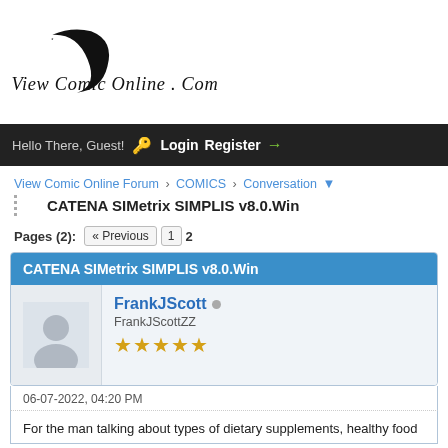[Figure (logo): View Comic Online .Com logo with crescent moon and figure silhouette, cursive text]
Hello There, Guest! Login Register →
View Comic Online Forum › COMICS › Conversation
CATENA SIMetrix SIMPLIS v8.0.Win
Pages (2): « Previous 1 2
CATENA SIMetrix SIMPLIS v8.0.Win
FrankJScott ● FrankJScottZZ ★★★★★
06-07-2022, 04:20 PM
For the man talking about types of dietary supplements, healthy food